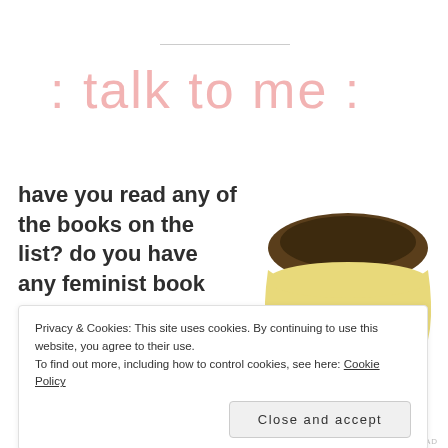[Figure (illustration): Decorative handwritten-style pink text reading ': talk to me:' as a blog header graphic]
have you read any of the books on the list? do you have any feminist book recommendations? let me know in the
[Figure (illustration): Cute cartoon pudding character with dark brown top, yellow body, small oval eyes, and pink cheeks]
Privacy & Cookies: This site uses cookies. By continuing to use this website, you agree to their use.
To find out more, including how to control cookies, see here: Cookie Policy
Close and accept